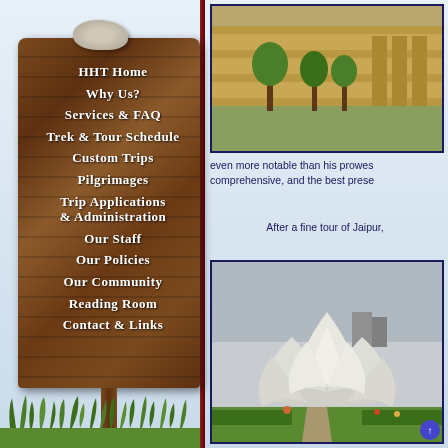HHT Home
Why Us?
Services & FAQ
Trek & Tour Schedule
Custom Trips
Pilgrimages
Trip Applications & Administration
Our Staff
Our Policies
Our Community
Reading Room
Contact & Links
[Figure (photo): Ancient fort or ruins with trees and stone walls, Rajasthan India]
even more notable than his prowess comprehensive, and the best prese
After a fine tour of Jaipur,
[Figure (photo): Lotus Temple in New Delhi, white flower-shaped Bahai house of worship with green gardens and visitors]